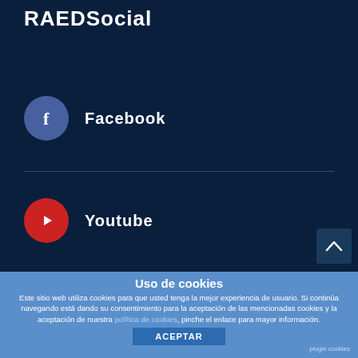RAEDSocial
Facebook
Youtube
Twitter
Uso de cookies
Este sitio web utiliza cookies para que usted tenga la mejor experiencia de usuario. Si continúa navegando está dando su consentimiento para la aceptación de las mencionadas cookies y la aceptación de nuestra política de cookies, pinche el enlace para mayor información.
plugin cookies
ACEPTAR